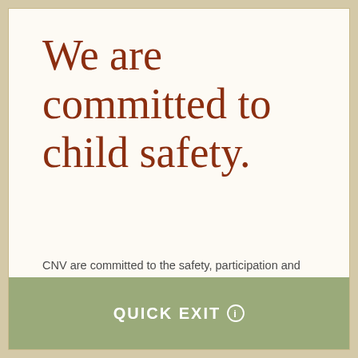We are committed to child safety.
CNV are committed to the safety, participation and empowerment of all children. We wish to contribute to a world and community that supports children to be happy, to be connected
QUICK EXIT